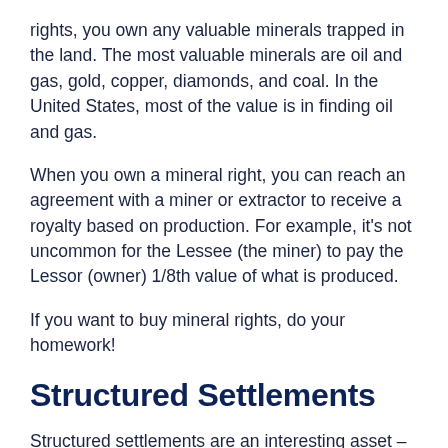rights, you own any valuable minerals trapped in the land. The most valuable minerals are oil and gas, gold, copper, diamonds, and coal. In the United States, most of the value is in finding oil and gas.
When you own a mineral right, you can reach an agreement with a miner or extractor to receive a royalty based on production. For example, it's not uncommon for the Lessee (the miner) to pay the Lessor (owner) 1/8th value of what is produced.
If you want to buy mineral rights, do your homework!
Structured Settlements
Structured settlements are an interesting asset – let's say you slip and fall in a store. You sue the store,